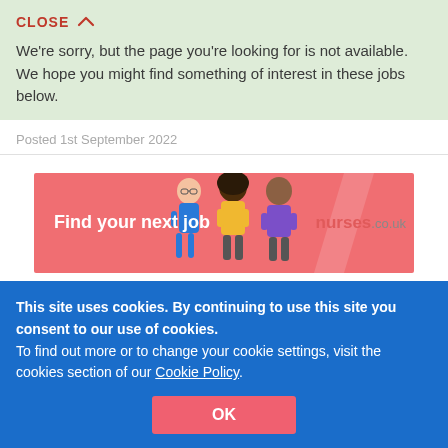CLOSE ∧
We're sorry, but the page you're looking for is not available. We hope you might find something of interest in these jobs below.
Posted 1st September 2022
[Figure (illustration): Nurses.co.uk advertisement banner showing 'Find your next job' text with illustrated figures of three people and the nurses.co.uk logo]
Disability Assessor
Huddersfield, West Yorkshire
This site uses cookies. By continuing to use this site you consent to our use of cookies.
To find out more or to change your cookie settings, visit the cookies section of our Cookie Policy.